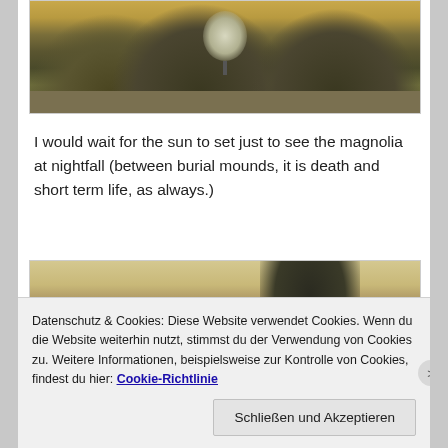[Figure (photo): Landscape photo of rounded burial mounds (tumuli) with a lone white-blossomed tree (magnolia) in the center, taken at dusk with a warm yellowish sky.]
I would wait for the sun to set just to see the magnolia at nightfall (between burial mounds, it is death and short term life, as always.)
[Figure (photo): Sepia-toned photo of a traditional East Asian building (temple or palace) with a curved roof, partially obscured by a large dark tree in the foreground.]
Datenschutz & Cookies: Diese Website verwendet Cookies. Wenn du die Website weiterhin nutzt, stimmst du der Verwendung von Cookies zu. Weitere Informationen, beispielsweise zur Kontrolle von Cookies, findest du hier: Cookie-Richtlinie
Schließen und Akzeptieren